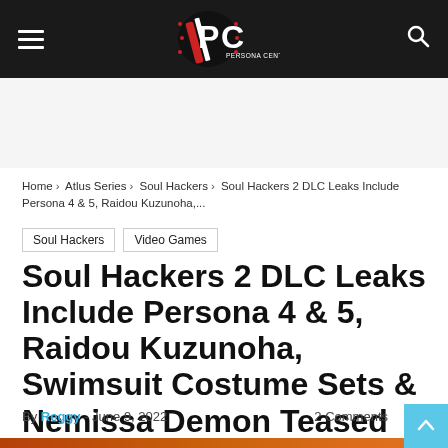Persona Central
Home > Atlus Series > Soul Hackers > Soul Hackers 2 DLC Leaks Include Persona 4 & 5, Raidou Kuzunoha,...
Soul Hackers
Video Games
Soul Hackers 2 DLC Leaks Include Persona 4 & 5, Raidou Kuzunoha, Swimsuit Costume Sets & Nemissa Demon Teased
By Reggy - June 9, 2022  2 Comments